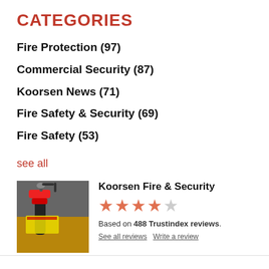CATEGORIES
Fire Protection (97)
Commercial Security (87)
Koorsen News (71)
Fire Safety & Security (69)
Fire Safety (53)
see all
[Figure (photo): Fire extinguisher close-up photo with yellow label]
Koorsen Fire & Security
Based on 488 Trustindex reviews.
See all reviews   Write a review